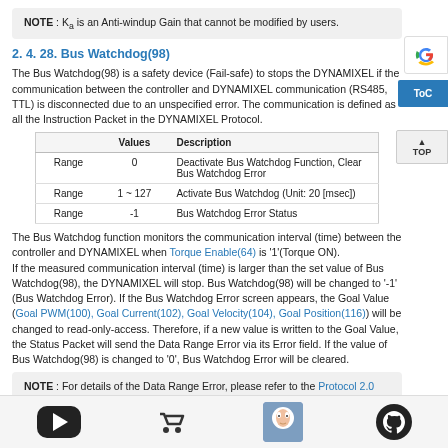NOTE : Ka is an Anti-windup Gain that cannot be modified by users.
2. 4. 28. Bus Watchdog(98)
The Bus Watchdog(98) is a safety device (Fail-safe) to stops the DYNAMIXEL if the communication between the controller and DYNAMIXEL communication (RS485, TTL) is disconnected due to an unspecified error. The communication is defined as all the Instruction Packet in the DYNAMIXEL Protocol.
|  | Values | Description |
| --- | --- | --- |
| Range | 0 | Deactivate Bus Watchdog Function, Clear Bus Watchdog Error |
| Range | 1 ~ 127 | Activate Bus Watchdog (Unit: 20 [msec]) |
| Range | -1 | Bus Watchdog Error Status |
The Bus Watchdog function monitors the communication interval (time) between the controller and DYNAMIXEL when Torque Enable(64) is '1'(Torque ON). If the measured communication interval (time) is larger than the set value of Bus Watchdog(98), the DYNAMIXEL will stop. Bus Watchdog(98) will be changed to '-1' (Bus Watchdog Error). If the Bus Watchdog Error screen appears, the Goal Value (Goal PWM(100), Goal Current(102), Goal Velocity(104), Goal Position(116)) will be changed to read-only-access. Therefore, if a new value is written to the Goal Value, the Status Packet will send the Data Range Error via its Error field. If the value of Bus Watchdog(98) is changed to '0', Bus Watchdog Error will be cleared.
NOTE : For details of the Data Range Error, please refer to the Protocol 2.0
NOTE: Bus Watchdog (98) is available from firmware v38.